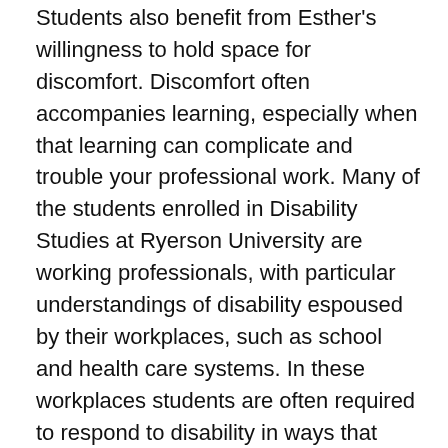Students also benefit from Esther's willingness to hold space for discomfort. Discomfort often accompanies learning, especially when that learning can complicate and trouble your professional work. Many of the students enrolled in Disability Studies at Ryerson University are working professionals, with particular understandings of disability espoused by their workplaces, such as school and health care systems. In these workplaces students are often required to respond to disability in ways that compete with disability-related activism and its intersections, including, for example, mad, queer and Indigenous activisms whose social justice work resists and disrupts such institutional systems. Esther has an innate ability to deftly guide students through that process of discomfort, nurture the desire for future learning and help her students enact disability justice in their workplaces, homes and communities.
Esther's commitment to excellence in the classroom in capacity for raising issues at local and larger community matter...